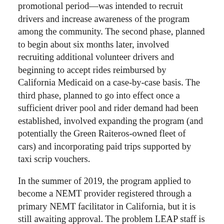promotional period—was intended to recruit drivers and increase awareness of the program among the community. The second phase, planned to begin about six months later, involved recruiting additional volunteer drivers and beginning to accept rides reimbursed by California Medicaid on a case-by-case basis. The third phase, planned to go into effect once a sufficient driver pool and rider demand had been established, involved expanding the program (and potentially the Green Raiteros-owned fleet of cars) and incorporating paid trips supported by taxi scrip vouchers.
In the summer of 2019, the program applied to become a NEMT provider registered through a primary NEMT facilitator in California, but it is still awaiting approval. The problem LEAP staff is facing is that the facilitator will only reimburse per-mile costs for trips taken under an approved organization's name, meaning that it would only reimburse $0.55 per mile for trips taken in